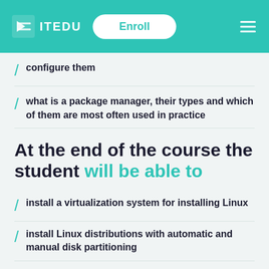ITEDU — Enroll
configure them
what is a package manager, their types and which of them are most often used in practice
At the end of the course the student will be able to
install a virtualization system for installing Linux
install Linux distributions with automatic and manual disk partitioning